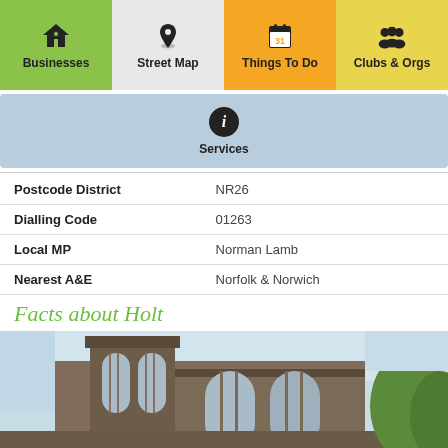[Figure (screenshot): Navigation buttons row 1: Businesses (green, house icon), Street Map (gray, pin icon), Things To Do (orange, calendar icon), Clubs & Orgs (yellow, people icon)]
[Figure (screenshot): Navigation button row 2: Services (light blue, info icon)]
| Postcode District | NR26 |
| Dialling Code | 01263 |
| Local MP | Norman Lamb |
| Nearest A&E | Norfolk & Norwich |
Facts about Holt
[Figure (photo): Photograph of a brick church building with Gothic arched windows, viewed from below against a light sky, with trees visible at right edge]